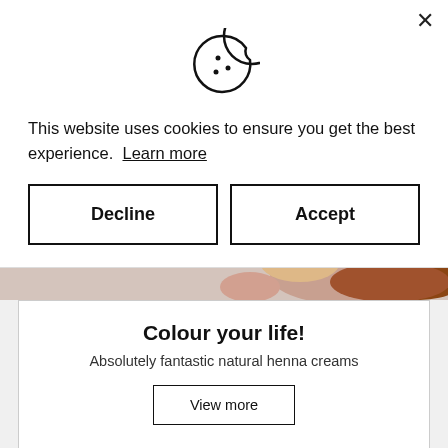[Figure (illustration): Cookie icon — circular cookie outline with bite taken out and three small dots/chips inside]
This website uses cookies to ensure you get the best experience.  Learn more
Decline
Accept
[Figure (photo): Partial photo showing skin tones and brown/auburn hair, cropped]
Colour your life!
Absolutely fantastic natural henna creams
View more